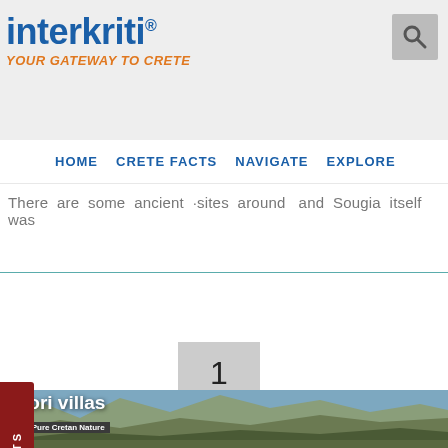interkriti® YOUR GATEWAY TO CRETE
HOME   CRETE FACTS   NAVIGATE   EXPLORE
There are some ancient sites around and Sougia itself was
[Figure (screenshot): Pagination element showing page number 1 in a grey box]
[Figure (photo): Mountain landscape photo strip showing Aliori villas with '100% Pure Cretan Nature' tagline]